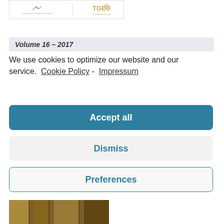[Figure (logo): Two logos side by side: a bird/feather logo on the left with small text beneath, and TGEU (Transgender Europe) logo on the right in gold/amber color]
Volume 16 – 2017
We use cookies to optimize our website and our service.  Cookie Policy -  Impressum
Accept all
Dismiss
Preferences
[Figure (photo): Partial view of a book or document cover with warm yellow/brown tones showing stylized figures]